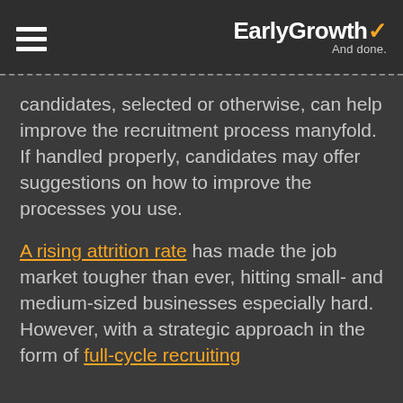EarlyGrowth And done.
candidates, selected or otherwise, can help improve the recruitment process manyfold. If handled properly, candidates may offer suggestions on how to improve the processes you use.
A rising attrition rate has made the job market tougher than ever, hitting small- and medium-sized businesses especially hard. However, with a strategic approach in the form of full-cycle recruiting